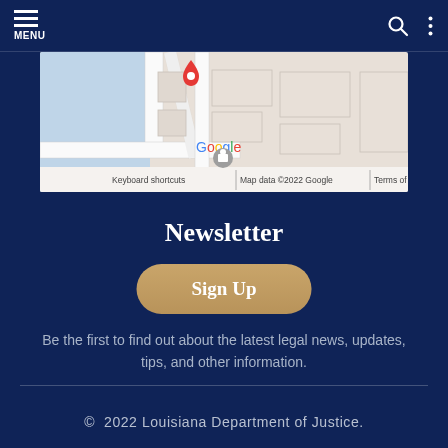MENU
[Figure (map): Google Maps embed showing a street map with a red location pin. Bottom bar shows: Keyboard shortcuts | Map data ©2022 Google | Terms of Use]
Newsletter
Sign Up
Be the first to find out about the latest legal news, updates, tips, and other information.
© 2022 Louisiana Department of Justice.